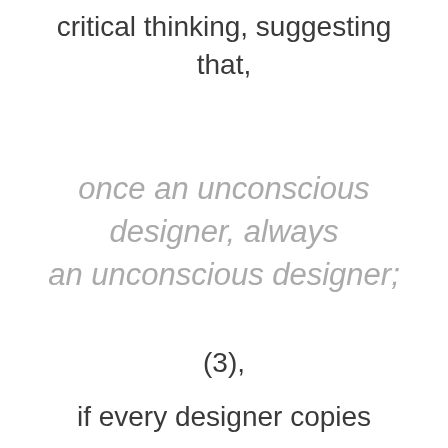critical thinking, suggesting that,
once an unconscious designer, always an unconscious designer;
(3),
if every designer copies